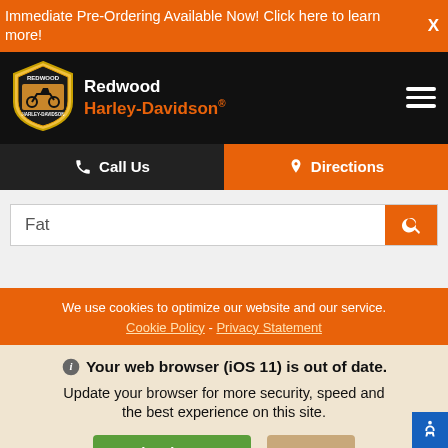Immediate Pre-Ordering Available Now! Click here to learn more!
[Figure (logo): Redwood Harley-Davidson shield logo with motorcycle]
Redwood Harley-Davidson®
Call Us
Directions
Fat
We use cookies to optimize our website and our service.
Cookie Policy - Privacy Statement
Your web browser (iOS 11) is out of date.
Update your browser for more security, speed and the best experience on this site.
Update browser
Ignore